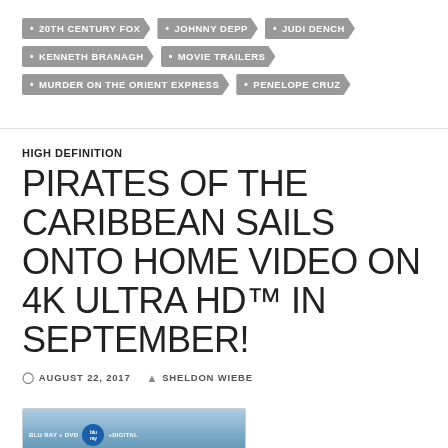20TH CENTURY FOX
JOHNNY DEPP
JUDI DENCH
KENNETH BRANAGH
MOVIE TRAILERS
MURDER ON THE ORIENT EXPRESS
PENELOPE CRUZ
HIGH DEFINITION
PIRATES OF THE CARIBBEAN SAILS ONTO HOME VIDEO ON 4K ULTRA HD™ IN SEPTEMBER!
AUGUST 22, 2017   SHELDON WIEBE
[Figure (photo): Blu-ray + DVD + Digital product strip at bottom of page]